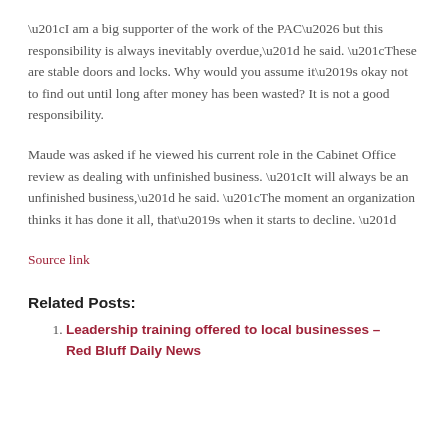“I am a big supporter of the work of the PAC… but this responsibility is always inevitably overdue,” he said. “These are stable doors and locks. Why would you assume it’s okay not to find out until long after money has been wasted? It is not a good responsibility.
Maude was asked if he viewed his current role in the Cabinet Office review as dealing with unfinished business. “It will always be an unfinished business,” he said. “The moment an organization thinks it has done it all, that’s when it starts to decline. ”
Source link
Related Posts:
Leadership training offered to local businesses – Red Bluff Daily News